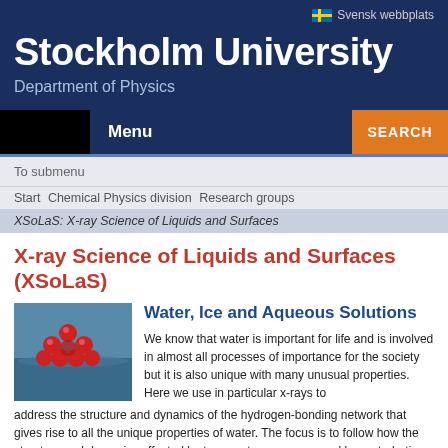Svensk webbplats
Stockholm University
Department of Physics
Menu
SEARCH
To submenu
Start   Chemical Physics division   Research groups
XSoLaS: X-ray Science of Liquids and Surfaces
X-ray Science of Liquids and Surfaces (XSoLaS)
[Figure (photo): Photo of water molecules represented as red spheres on a water surface]
Water, Ice and Aqueous Solutions
We know that water is important for life and is involved in almost all processes of importance for the society but it is also unique with many unusual properties. Here we use in particular x-rays to address the structure and dynamics of the hydrogen-bonding network that gives rise to all the unique properties of water. The focus is to follow how the structure and dynamics affected by temperature pressure and by perturbation through